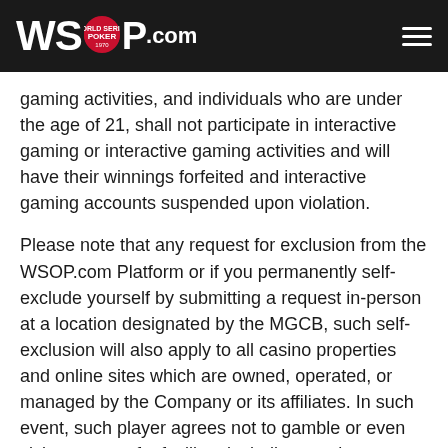WSOP.COM
gaming activities, and individuals who are under the age of 21, shall not participate in interactive gaming or interactive gaming activities and will have their winnings forfeited and interactive gaming accounts suspended upon violation.
Please note that any request for exclusion from the WSOP.com Platform or if you permanently self-exclude yourself by submitting a request in-person at a location designated by the MGCB, such self-exclusion will also apply to all casino properties and online sites which are owned, operated, or managed by the Company or its affiliates. In such event, such player agrees not to gamble or even visit any part of a facility - including gaming areas, gaming floors, restaurants, hotels, pari-mutuel gaming areas, pavilions, entertainment venues, and any other area of a gambling property owned, operated, or managed by the Company or its affiliates during the period of his self-exclusion.
Finally, we reserve the right to exclude a player at our